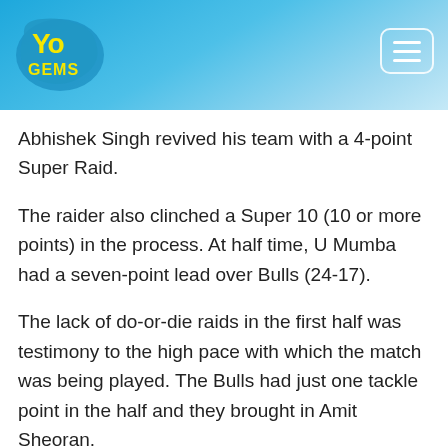YoGems logo and navigation
Abhishek Singh revived his team with a 4-point Super Raid.
The raider also clinched a Super 10 (10 or more points) in the process. At half time, U Mumba had a seven-point lead over Bulls (24-17).
The lack of do-or-die raids in the first half was testimony to the high pace with which the match was being played. The Bulls had just one tackle point in the half and they brought in Amit Sheoran.
But that could not stop U Mumba from inflicting